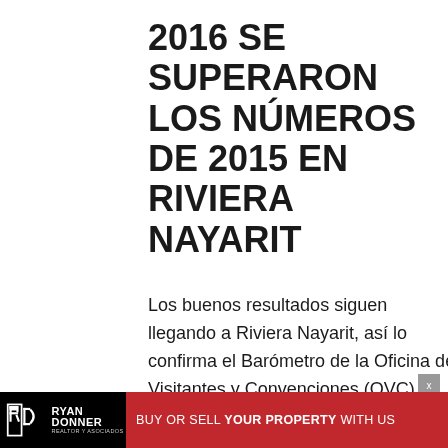2016 SE SUPERARON LOS NÚMEROS DE 2015 EN RIVIERA NAYARIT
Los buenos resultados siguen llegando a Riviera Nayarit, así lo confirma el Barómetro de la Oficina de Visitantes y Convenciones (OVC), pues algunos
[Figure (logo): Ryan Donner Realtor y Asociados logo with red banner reading BUY OR SELL YOUR PROPERTY WITH US]